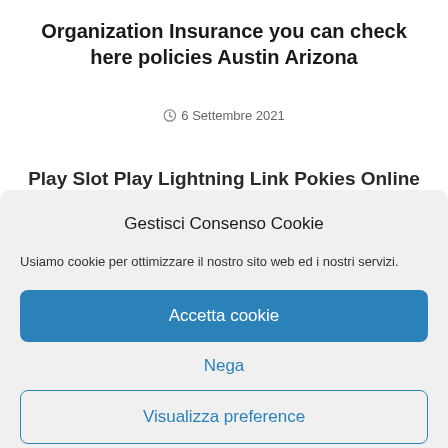Organization Insurance you can check here policies Austin Arizona
6 Settembre 2021
Play Slot Play Lightning Link Pokies Online
Gestisci Consenso Cookie
Usiamo cookie per ottimizzare il nostro sito web ed i nostri servizi.
Accetta cookie
Nega
Visualizza preference